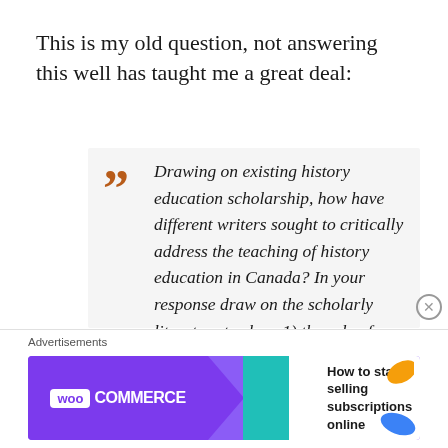This is my old question, not answering this well has taught me a great deal:
Drawing on existing history education scholarship, how have different writers sought to critically address the teaching of history education in Canada? In your response draw on the scholarly literature to show 1) the role of historical thinking
[Figure (other): WooCommerce advertisement banner: 'How to start selling subscriptions online']